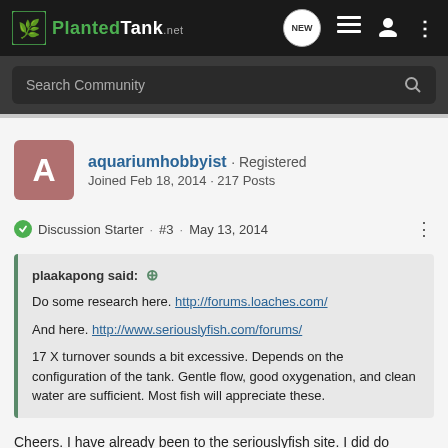PlantedTank - navigation bar with logo, NEW button, list icon, user icon, dots icon
Search Community
aquariumhobbyist · Registered
Joined Feb 18, 2014 · 217 Posts
Discussion Starter · #3 · May 13, 2014
plaakapong said: ↑
Do some research here. http://forums.loaches.com/

And here. http://www.seriouslyfish.com/forums/

17 X turnover sounds a bit excessive. Depends on the configuration of the tank. Gentle flow, good oxygenation, and clean water are sufficient. Most fish will appreciate these.
Cheers. I have already been to the seriouslyfish site. I did do